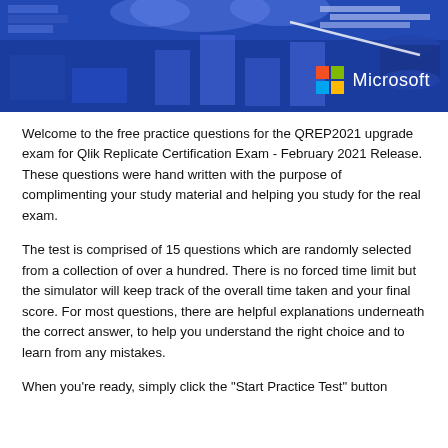[Figure (illustration): Microsoft branded banner with abstract blue geometric shapes, bar chart elements, data code snippets, and the Microsoft four-color logo with white 'Microsoft' text on a dark blue background.]
Welcome to the free practice questions for the QREP2021 upgrade exam for Qlik Replicate Certification Exam - February 2021 Release. These questions were hand written with the purpose of complimenting your study material and helping you study for the real exam.
The test is comprised of 15 questions which are randomly selected from a collection of over a hundred. There is no forced time limit but the simulator will keep track of the overall time taken and your final score. For most questions, there are helpful explanations underneath the correct answer, to help you understand the right choice and to learn from any mistakes.
When you're ready, simply click the "Start Practice Test" button